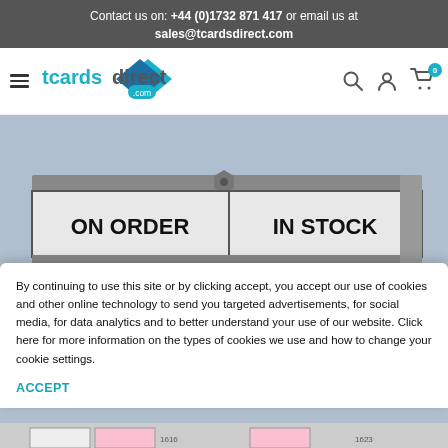Contact us on: +44 (0)1732 871 417 or email us at sales@tcardsdirect.com
[Figure (logo): tcardsdirect.com logo with diamond shape]
[Figure (photo): T-card holder display showing ON ORDER and IN STOCK labels]
By continuing to use this site or by clicking accept, you accept our use of cookies and other online technology to send you targeted advertisements, for social media, for data analytics and to better understand your use of our website. Click here for more information on the types of cookies we use and how to change your cookie settings.
ACCEPT
[Figure (photo): Partial bottom image of T-card filing system with numbered tabs 1616 and 1623]